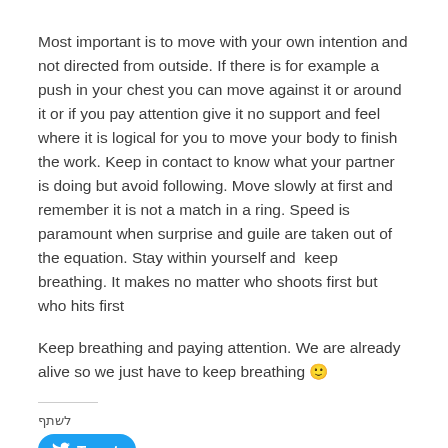Most important is to move with your own intention and not directed from outside. If there is for example a push in your chest you can move against it or around it or if you pay attention give it no support and feel where it is logical for you to move your body to finish the work. Keep in contact to know what your partner is doing but avoid following. Move slowly at first and remember it is not a match in a ring. Speed is paramount when surprise and guile are taken out of the equation. Stay within yourself and  keep breathing. It makes no matter who shoots first but who hits first
Keep breathing and paying attention. We are already alive so we just have to keep breathing 🙂
לשתף
[Figure (other): Twitter Tweet button with bird logo]